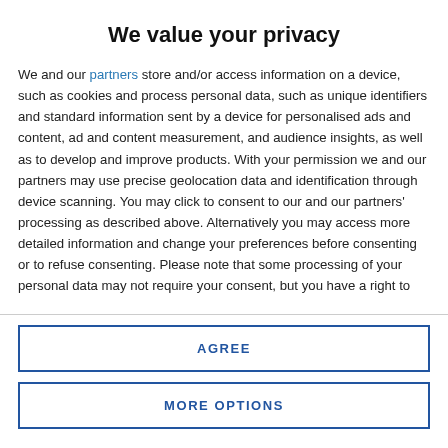We value your privacy
We and our partners store and/or access information on a device, such as cookies and process personal data, such as unique identifiers and standard information sent by a device for personalised ads and content, ad and content measurement, and audience insights, as well as to develop and improve products. With your permission we and our partners may use precise geolocation data and identification through device scanning. You may click to consent to our and our partners' processing as described above. Alternatively you may access more detailed information and change your preferences before consenting or to refuse consenting. Please note that some processing of your personal data may not require your consent, but you have a right to
AGREE
MORE OPTIONS
transport badge for people with invisible